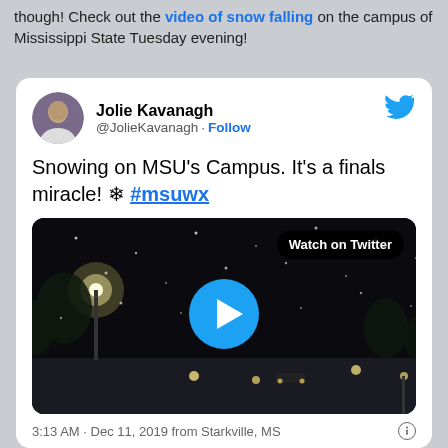though! Check out the video of snow falling on the campus of Mississippi State Tuesday evening!
[Figure (screenshot): Embedded tweet from @JolieKavanagh showing a video of snow falling on MSU campus at night, with play button and 'Watch on Twitter' button. Tweet text: 'Snowing on MSU's Campus. It's a finals miracle! ❄ #msuwx'. Timestamp: 3:13 AM · Dec 11, 2019 from Starkville, MS]